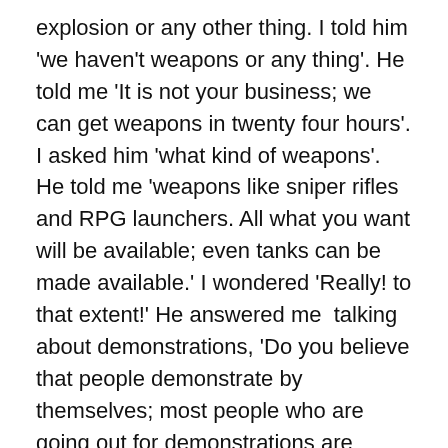explosion or any other thing. I told him 'we haven't weapons or any thing'. He told me 'It is not your business; we can get weapons in twenty four hours'. I asked him 'what kind of weapons'. He told me 'weapons like sniper rifles and RPG launchers. All what you want will be available; even tanks can be made available.' I wondered 'Really! to that extent!' He answered me  talking about demonstrations, 'Do you believe that people demonstrate by themselves; most people who are going out for demonstrations are doing so, because they are paid money. There are people who pay them money and support them'."
Al-Qalam added "I didn't discuss the issue with him so much. What is important is that Kanj wanted to meet me and Ahmad Audeh in Damascus. Audeh came and we met in Damascus. He said he was so glad to hire us on this...